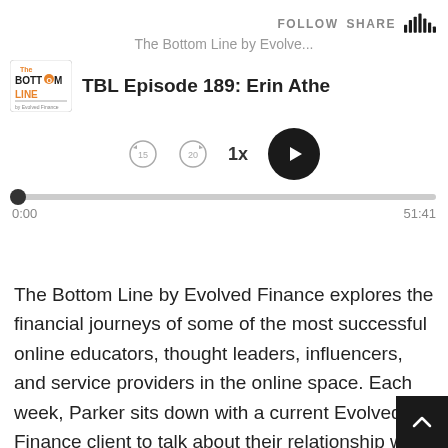FOLLOW   SHARE
The Bottom Line by Evolve...
TBL Episode 189: Erin Athe
[Figure (screenshot): Podcast player controls: rewind, skip-forward, 1x speed, play button, progress bar showing 0:00 / 51:41]
The Bottom Line by Evolved Finance explores the financial journeys of some of the most successful online educators, thought leaders, influencers, and service providers in the online space. Each week, Parker sits down with a current Evolved Finance client to talk about their relationship with money and how their mindset has